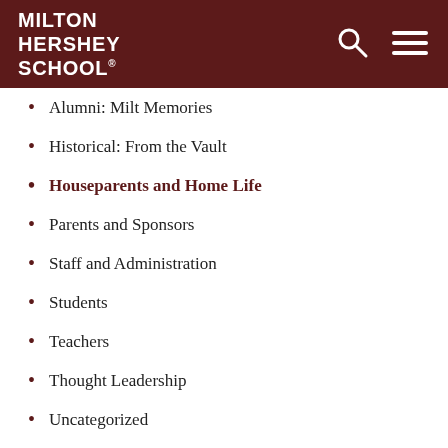MILTON HERSHEY SCHOOL
Alumni: Milt Memories
Historical: From the Vault
Houseparents and Home Life
Parents and Sponsors
Staff and Administration
Students
Teachers
Thought Leadership
Uncategorized
Tags
Agricultural and Environmental Education
Alumni
Athletics